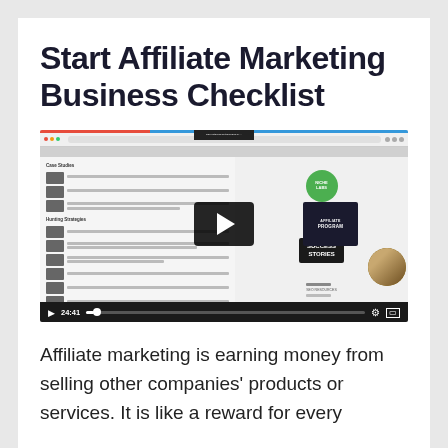Start Affiliate Marketing Business Checklist
[Figure (screenshot): Video player showing a screenshot of a website about affiliate marketing, with play controls showing 24:41 duration, a play button overlay, affiliate program thumbnail, success stories section, and presenter avatar in bottom right corner.]
Affiliate marketing is earning money from selling other companies' products or services. It is like a reward for every